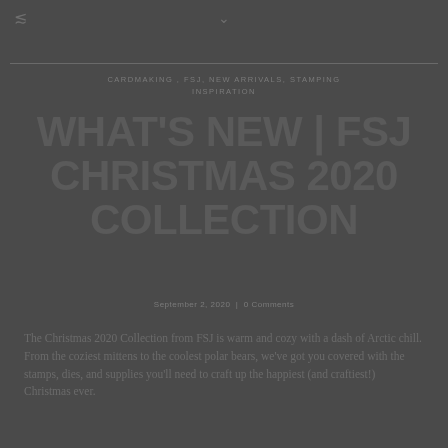share / chevron icons
CARDMAKING, FSJ, NEW ARRIVALS, STAMPING INSPIRATION
WHAT'S NEW | FSJ CHRISTMAS 2020 COLLECTION
September 2, 2020 | 0 Comments
The Christmas 2020 Collection from FSJ is warm and cozy with a dash of Arctic chill. From the coziest mittens to the coolest polar bears, we've got you covered with the stamps, dies, and supplies you'll need to craft up the happiest (and craftiest!) Christmas ever.